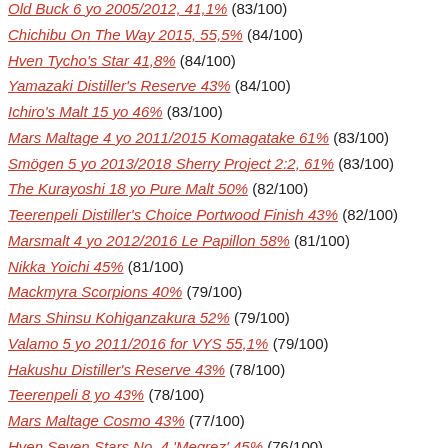Old Buck 6 yo 2005/2012, 41,1% (83/100)
Chichibu On The Way 2015, 55,5% (84/100)
Hven Tycho's Star 41,8% (84/100)
Yamazaki Distiller's Reserve 43% (84/100)
Ichiro's Malt 15 yo 46% (83/100)
Mars Maltage 4 yo 2011/2015 Komagatake 61% (83/100)
Smögen 5 yo 2013/2018 Sherry Project 2:2, 61% (83/100)
The Kurayoshi 18 yo Pure Malt 50% (82/100)
Teerenpeli Distiller's Choice Portwood Finish 43% (82/100)
Marsmalt 4 yo 2012/2016 Le Papillon 58% (81/100)
Nikka Yoichi 45% (81/100)
Mackmyra Scorpions 40% (79/100)
Mars Shinsu Kohiganzakura 52% (79/100)
Valamo 5 yo 2011/2016 for VYS 55,1% (79/100)
Hakushu Distiller's Reserve 43% (78/100)
Teerenpeli 8 yo 43% (78/100)
Mars Maltage Cosmo 43% (77/100)
Hven Seven Stars No. 4 'Megrez' 45% (76/100)
The Kurayoshi 8 yo Pure Malt 43% (76/100)
Rogner Malz-Whisky 3/3, 44,7% (71/100)